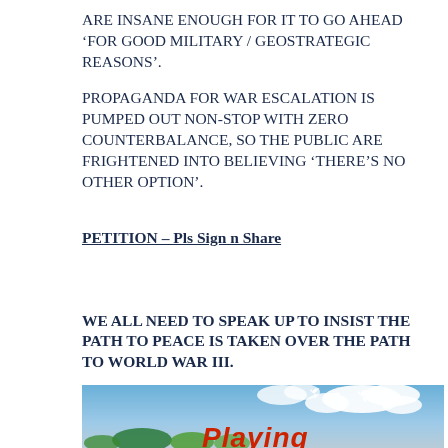ARE INSANE ENOUGH FOR IT TO GO AHEAD ‘FOR GOOD MILITARY / GEOSTRATEGIC REASONS’.
PROPAGANDA FOR WAR ESCALATION IS PUMPED OUT NON-STOP WITH ZERO COUNTERBALANCE, SO THE PUBLIC ARE FRIGHTENED INTO BELIEVING ‘THERE’S NO OTHER OPTION’.
PETITION – Pls Sign n Share
WE ALL NEED TO SPEAK UP TO INSIST THE PATH TO PEACE IS TAKEN OVER THE PATH TO WORLD WAR III.
[Figure (illustration): Illustration showing doves flying over a sky with clouds and colorful text reading 'Playing' in red on an italic style, with green and multicolored background elements below.]